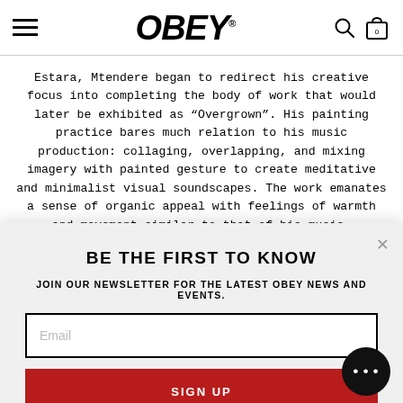OBEY
Estara, Mtendere began to redirect his creative focus into completing the body of work that would later be exhibited as “Overgrown”. His painting practice bares much relation to his music production: collaging, overlapping, and mixing imagery with painted gesture to create meditative and minimalist visual soundscapes. The work emanates a sense of organic appeal with feelings of warmth and movement similar to that of his music.
BE THE FIRST TO KNOW
JOIN OUR NEWSLETTER FOR THE LATEST OBEY NEWS AND EVENTS.
Email
SIGN UP